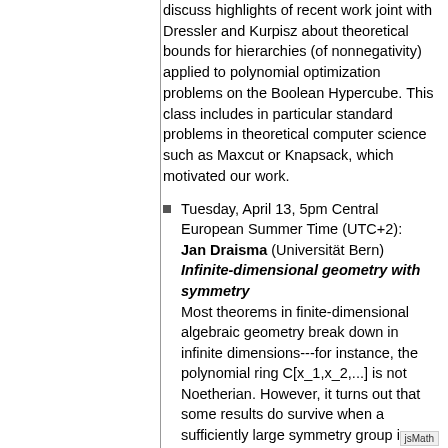discuss highlights of recent work joint with Dressler and Kurpisz about theoretical bounds for hierarchies (of nonnegativity) applied to polynomial optimization problems on the Boolean Hypercube. This class includes in particular standard problems in theoretical computer science such as Maxcut or Knapsack, which motivated our work.
Tuesday, April 13, 5pm Central European Summer Time (UTC+2): Jan Draisma (Universität Bern) Infinite-dimensional geometry with symmetry Most theorems in finite-dimensional algebraic geometry break down in infinite dimensions---for instance, the polynomial ring C[x_1,x_2,...] is not Noetherian. However, it turns out that some results do survive when a sufficiently large symmetry group is imposed; e.g., ideals in C[x_1,x_2,...] that are preserved under all variable permutations do satisfy the